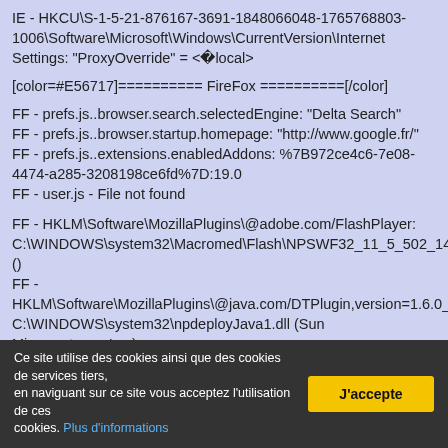IE - HKCU\S-1-5-21-876167-3691-1848066048-1765768803-1006\Software\Microsoft\Windows\CurrentVersion\Internet Settings: "ProxyOverride" = <�local>
[color=#E56717]========== FireFox ==========[/color]
FF - prefs.js..browser.search.selectedEngine: "Delta Search"
FF - prefs.js..browser.startup.homepage: "http://www.google.fr/"
FF - prefs.js..extensions.enabledAddons: %7B972ce4c6-7e08-4474-a285-3208198ce6fd%7D:19.0
FF - user.js - File not found
FF - HKLM\Software\MozillaPlugins\@adobe.com/FlashPlayer: C:\WINDOWS\system32\Macromed\Flash\NPSWF32_11_5_502_14 ()
FF - HKLM\Software\MozillaPlugins\@java.com/DTPlugin,version=1.6.0_ C:\WINDOWS\system32\npdeployJava1.dll (Sun Microsystems, Inc.)
FF - HKLM\Software\MozillaPlugins\@ma-
Ce site utilise des cookies ainsi que des cookies de services tiers, en naviguant sur ce site vous acceptez l'utilisation de ces cookies. Plus d'informations